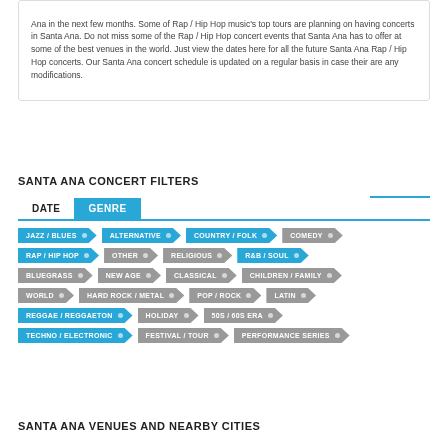Ana in the next few months. Some of Rap / Hip Hop music's top tours are planning on having concerts in Santa Ana. Do not miss some of the Rap / Hip Hop concert events that Santa Ana has to offer at some of the best venues in the world. Just view the dates here for all the future Santa Ana Rap / Hip Hop concerts. Our Santa Ana concert schedule is updated on a regular basis in case their are any modifications.
SANTA ANA CONCERT FILTERS
DATE  GENRE (tabs)
JAZZ / BLUES
ALTERNATIVE
COUNTRY / FOLK
COMEDY
RAP / HIP HOP
OTHER
RELIGIOUS
R&B / SOUL
BLUEGRASS
NEW AGE
CLASSICAL
CHILDREN / FAMILY
WORLD
HARD ROCK / METAL
POP / ROCK
LATIN
REGGAE / REGGAETON
HOLIDAY
50s / 60s ERA
TECHNO / ELECTRONIC
FESTIVAL / TOUR
PERFORMANCE SERIES
SANTA ANA VENUES AND NEARBY CITIES